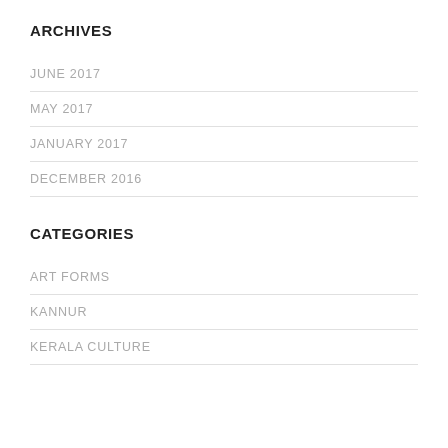ARCHIVES
JUNE 2017
MAY 2017
JANUARY 2017
DECEMBER 2016
CATEGORIES
ART FORMS
KANNUR
KERALA CULTURE